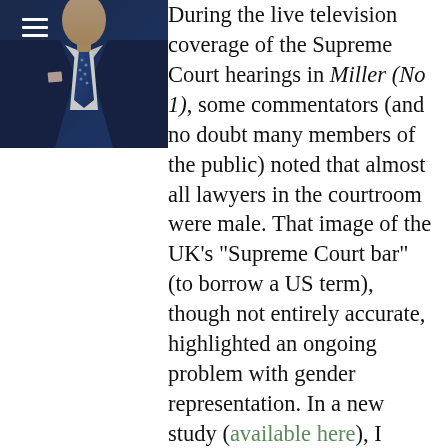[Figure (photo): Photo of a man in a dark navy suit with a blue polka-dot tie and pocket square, cropped to upper torso and partially visible face. A hamburger menu icon appears in the top-left corner.]
During the live television coverage of the Supreme Court hearings in Miller (No 1), some commentators (and no doubt many members of the public) noted that almost all lawyers in the courtroom were male. That image of the UK's “Supreme Court bar” (to borrow a US term), though not entirely accurate, highlighted an ongoing problem with gender representation. In a new study (available here), I analysed the trends of gender and seniority in counsel appearances before the House of Lords and the Supreme Court from 1970 to 2020 based on a unique dataset I created covering 5,041 lawyers and 2,714 judgments. I found that there are some very optimistic signs regarding appearances of the most junior